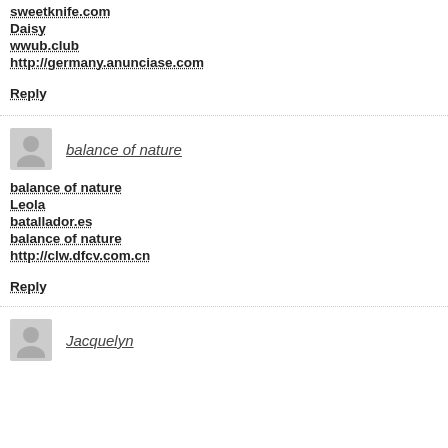sweetknife.com
Daisy
wwub.club
http://germany.anunciase.com
Reply
balance of nature
balance of nature
Leola
batallador.es
balance of nature
http://clw.dfcv.com.cn
Reply
Jacquelyn